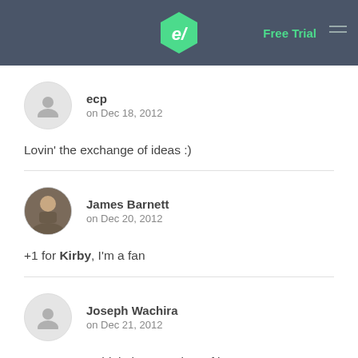Free Trial
ecp
on Dec 18, 2012
Lovin' the exchange of ideas :)
James Barnett
on Dec 20, 2012
+1 for Kirby, I'm a fan
Joseph Wachira
on Dec 21, 2012
To wrap up, I think there are lots of best CMS's out there, some simple and easy to use while others are